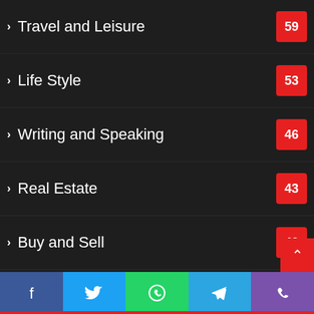Travel and Leisure
Life Style
Writing and Speaking
Real Estate
Buy and Sell
Internet and Businesses
food and drink
Products
Arts and Entertainment
Medical
Gaming
Uncategorized
Home and Family
Facebook | Twitter | WhatsApp | Telegram | Phone